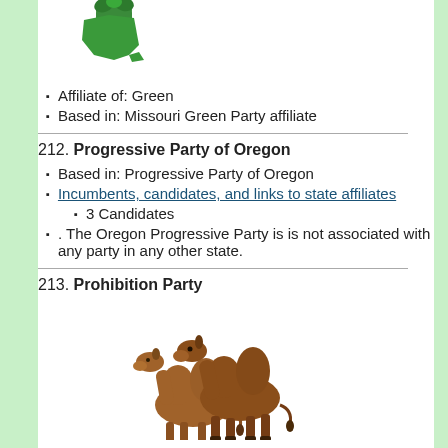[Figure (illustration): Green stylized Missouri state shape with leaves/plant motif, partially visible at top of page]
Affiliate of: Green
Based in: Missouri Green Party affiliate
212. Progressive Party of Oregon
Based in: Progressive Party of Oregon
Incumbents, candidates, and links to state affiliates
3 Candidates
. The Oregon Progressive Party is is not associated with any party in any other state.
213. Prohibition Party
[Figure (illustration): Two brown Bactrian camels (double-humped) standing together]
Affiliates: Concerns Of People
Party Links
The Prohibition Party (Partisan Historical Society)
Incumbents, candidates, and links to state affiliates